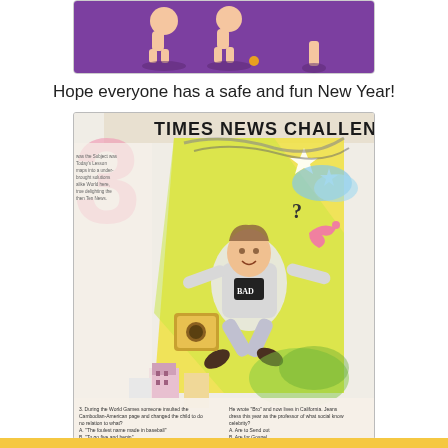[Figure (illustration): Cartoon/illustration showing animated figures running or dancing, partial view, colorful with purple/pink tones at top of page]
Hope everyone has a safe and fun New Year!
[Figure (photo): Photo of a colorful illustrated magazine or newspaper page titled 'TIMES NEWS CHALLENGE' featuring a dynamic cartoon figure of a man being blown around with various colorful elements including a pink bird, buildings, stars, and quiz text at the bottom]